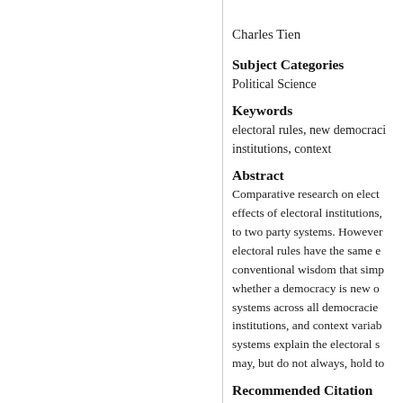Charles Tien
Subject Categories
Political Science
Keywords
electoral rules, new democracies, institutions, context
Abstract
Comparative research on electoral effects of electoral institutions, to two party systems. However, electoral rules have the same e conventional wisdom that simp whether a democracy is new o systems across all democracie institutions, and context variab systems explain the electoral s may, but do not always, hold to
Recommended Citation
Chang, Helen, "Electoral System (2017). CUNY Academic Works.